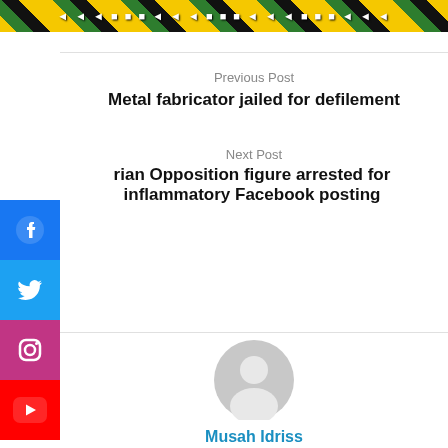[Figure (illustration): Decorative banner with diagonal pattern in yellow, green, and black, with text overlay]
Previous Post
Metal fabricator jailed for defilement
Next Post
rian Opposition figure arrested for inflammatory Facebook posting
[Figure (logo): Facebook social media button (blue square with white Facebook icon)]
[Figure (logo): Twitter social media button (blue square with white Twitter bird icon)]
[Figure (logo): Instagram social media button (pink/magenta square with white Instagram icon)]
[Figure (logo): YouTube social media button (red square with white YouTube play button icon)]
[Figure (photo): Grey default user avatar/profile photo placeholder]
Musah Idriss